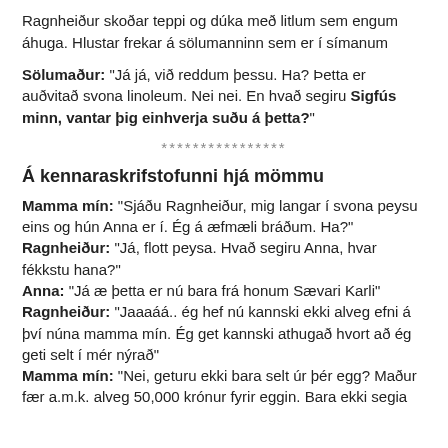Ragnheiður skoðar teppi og dúka með litlum sem engum áhuga. Hlustar frekar á sölumanninn sem er í símanum
Sölumaður: "Já já, við reddum þessu. Ha? Þetta er auðvitað svona linoleum. Nei nei. En hvað segiru Sigfús minn, vantar þig einhverja suðu á þetta?"
****************
Á kennaraskrifstofunni hjá mömmu
Mamma mín: "Sjáðu Ragnheiður, mig langar í svona peysu eins og hún Anna er í. Ég á æfmæli bráðum. Ha?" Ragnheiður: "Já, flott peysa. Hvað segiru Anna, hvar fékkstu hana?" Anna: "Já æ þetta er nú bara frá honum Sævari Karli" Ragnheiður: "Jaaaáá.. ég hef nú kannski ekki alveg efni á því núna mamma mín. Ég get kannski athugað hvort að ég geti selt í mér nýrað" Mamma mín: "Nei, geturu ekki bara selt úr þér egg? Maður fær a.m.k. alveg 50,000 krónur fyrir eggin. Bara ekki segia